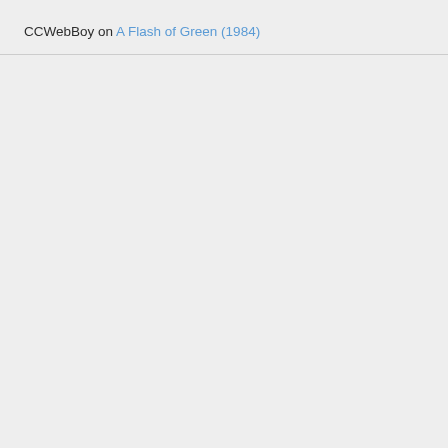CCWebBoy on A Flash of Green (1984)